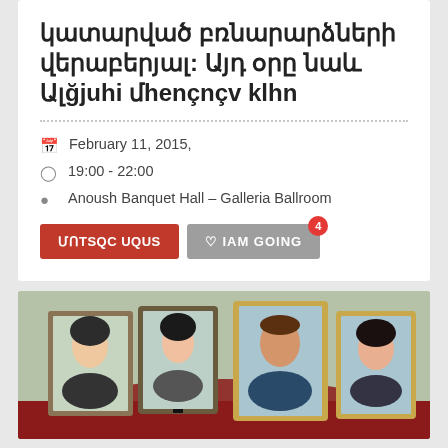կատարված բռնարարձների վերաբերյալ: Այդ օրը նաև Ալağjuhi մhençnçv klhn
February 11, 2015,
19:00 - 22:00
Anoush Banquet Hall – Galleria Ballroom
[Figure (photo): Several framed portrait photographs displayed on a red-draped surface, showing faces of individuals.]